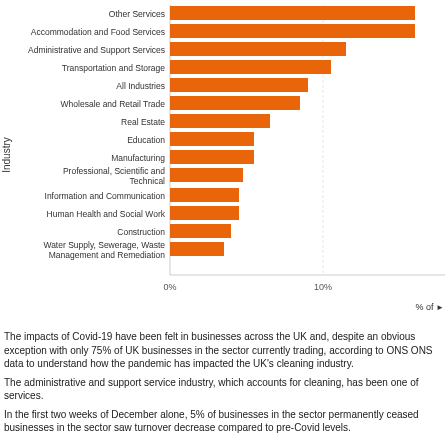[Figure (bar-chart): ]
The impacts of Covid-19 have been felt in businesses across the UK and, despite an obvious exception with only 75% of UK businesses in the sector currently trading, according to ONS ONS data to understand how the pandemic has impacted the UK's cleaning industry.
The administrative and support service industry, which accounts for cleaning, has been one of services.
In the first two weeks of December alone, 5% of businesses in the sector permanently ceased businesses in the sector saw turnover decrease compared to pre-Covid levels.